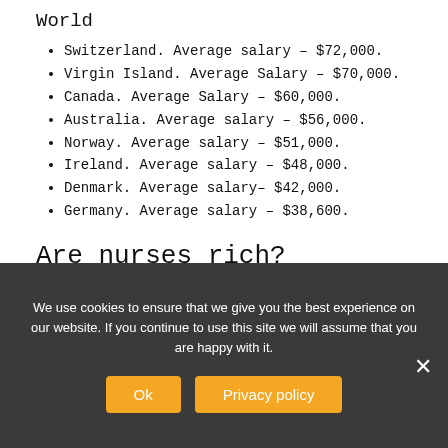World
Switzerland. Average salary – $72,000.
Virgin Island. Average Salary – $70,000.
Canada. Average Salary – $60,000.
Australia. Average salary – $56,000.
Norway. Average salary – $51,000.
Ireland. Average salary – $48,000.
Denmark. Average salary- $42,000.
Germany. Average salary – $38,600.
Are nurses rich?
Nurses are known for having a stable income, but nothing glamorous. It isn't the mindset of most
We use cookies to ensure that we give you the best experience on our website. If you continue to use this site we will assume that you are happy with it.